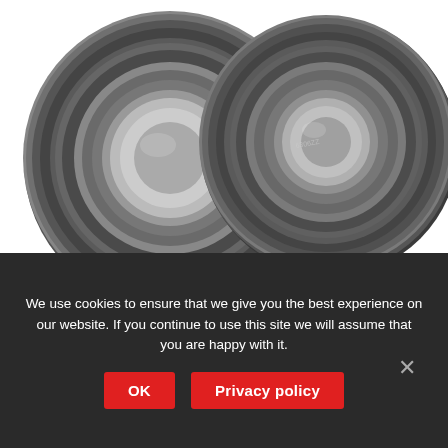[Figure (photo): Two metal ball bearings (6306/6307) shown side by side on a white background]
BUSH WASHING MACHINE BEARINGS BEARING SEAL KIT 408010 6306/6307
£39.99 In stock
We use cookies to ensure that we give you the best experience on our website. If you continue to use this site we will assume that you are happy with it.